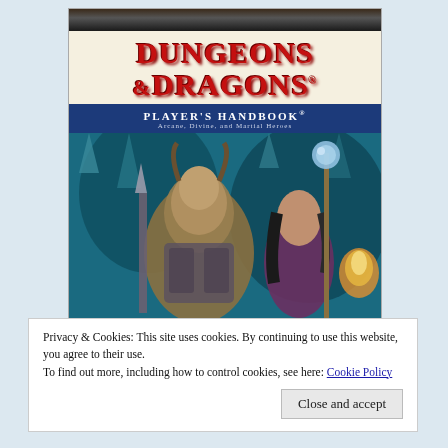[Figure (illustration): Cover of Dungeons & Dragons Player's Handbook 4th Edition showing the iconic red title logo on a cream background, a blue banner with 'Player's Handbook - Arcane, Divine, and Martial Heroes', and fantasy artwork featuring armored characters (a dragonborn warrior and a female spellcaster with a staff) against a dramatic cave/battle background.]
Privacy & Cookies: This site uses cookies. By continuing to use this website, you agree to their use.
To find out more, including how to control cookies, see here: Cookie Policy
Close and accept